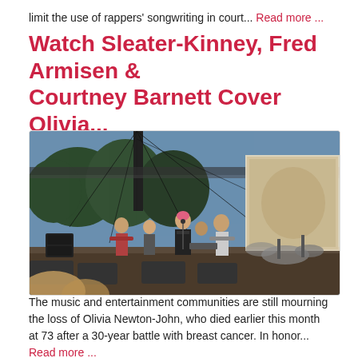limit the use of rappers' songwriting in court... Read more ...
Watch Sleater-Kinney, Fred Armisen & Courtney Barnett Cover Olivia...
[Figure (photo): Concert stage photo showing a band performing outdoors with trees in background and a large LED screen on the right side. Several musicians on stage including a female vocalist in black dress and male guitarist.]
The music and entertainment communities are still mourning the loss of Olivia Newton-John, who died earlier this month at 73 after a 30-year battle with breast cancer. In honor... Read more ...